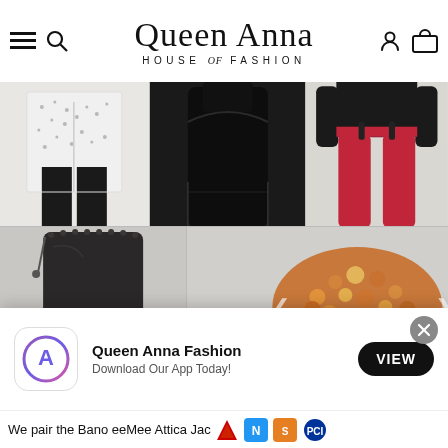[Figure (screenshot): Queen Anna House of Fashion website header with hamburger menu, search icon, brand name logo, user account icon, and shopping bag icon]
[Figure (photo): Fashion product grid showing: white patterned jacket with black pants, black turtleneck top, dark red/maroon cropped trousers, black leather boot, rose gold sequin/glitter item]
[Figure (screenshot): App download banner for Queen Anna Fashion with App Store icon, name, subtitle 'Download Our App Today!', VIEW button, and X close button]
We pair the Bano eeMee Attica Jac